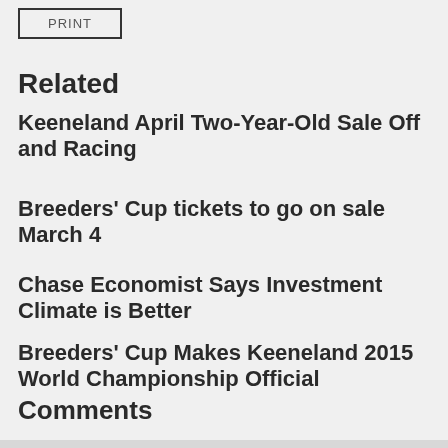PRINT
Related
Keeneland April Two-Year-Old Sale Off and Racing
Breeders' Cup tickets to go on sale March 4
Chase Economist Says Investment Climate is Better
Breeders' Cup Makes Keeneland 2015 World Championship Official
Comments